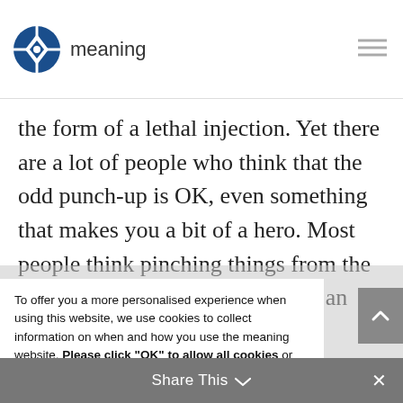meaning
the form of a lethal injection. Yet there are a lot of people who think that the odd punch-up is OK, even something that makes you a bit of a hero. Most people think pinching things from the office is wrong, but despite that, an awful
To offer you a more personalised experience when using this website, we use cookies to collect information on when and how you use the meaning website. Please click "OK" to allow all cookies or select "Cookie settings" to restrict those you wish to allow or opt out of non-essential cookies.
Cookie settings
OK
Share This